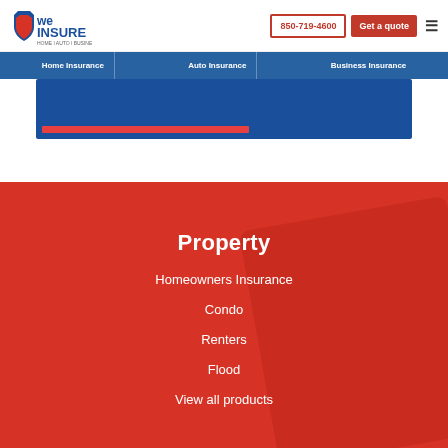[Figure (logo): We Insure logo - Home, Auto, Business]
850-719-4600
Get a quote
Home Insurance | Auto Insurance | Business Insurance
Property
Homeowners Insurance
Condo
Renters
Flood
View all products